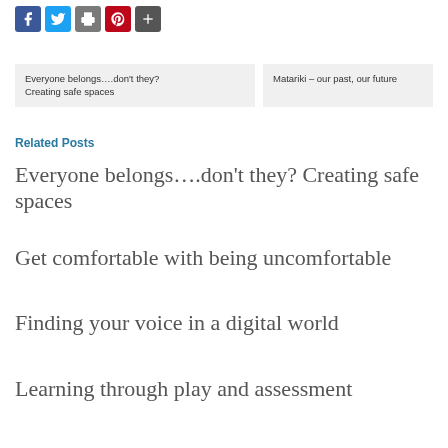[Figure (other): Social sharing icons row: Facebook, Twitter, Print, Pinterest, More]
Everyone belongs….don't they?
Creating safe spaces
Matariki – our past, our future
Related Posts
Everyone belongs….don't they? Creating safe spaces
Get comfortable with being uncomfortable
Finding your voice in a digital world
Learning through play and assessment